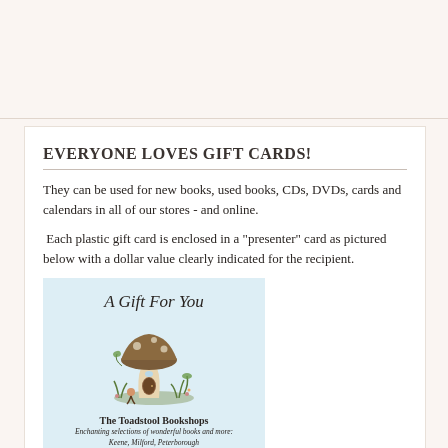EVERYONE LOVES GIFT CARDS!
They can be used for new books, used books, CDs, DVDs, cards and calendars in all of our stores - and online.
Each plastic gift card is enclosed in a "presenter" card as pictured below with a dollar value clearly indicated for the recipient.
[Figure (illustration): A gift card presenter for The Toadstool Bookshops featuring the text 'A Gift For You', an illustration of a toadstool/mushroom scene with figures, the shop name 'The Toadstool Bookshops', and the tagline 'Enchanting selections of wonderful books and more: Keene, Milford, Peterborough']